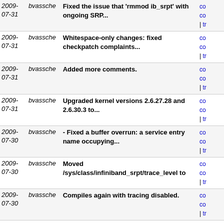| Date | Author | Message | Links |
| --- | --- | --- | --- |
| 2009-07-31 | bvassche | Fixed the issue that 'rmmod ib_srpt' with ongoing SRP... | co co | tr |
| 2009-07-31 | bvassche | Whitespace-only changes: fixed checkpatch complaints... | co co | tr |
| 2009-07-31 | bvassche | Added more comments. | co co | tr |
| 2009-07-31 | bvassche | Upgraded kernel versions 2.6.27.28 and 2.6.30.3 to... | co co | tr |
| 2009-07-30 | bvassche | - Fixed a buffer overrun: a service entry name occupying... | co co | tr |
| 2009-07-30 | bvassche | Moved /sys/class/infiniband_srpt/trace_level to | co co | tr |
| 2009-07-30 | bvassche | Compiles again with tracing disabled. | co co | tr |
| 2009-07-29 | bvassche | Should have been included in the previous commit (r988). | co co | tr |
| 2009-07-29 | bvassche | - Fixed a race condition found via source reading:... | co co | tr |
| 2009-07-29 | bvassche | Whitespace-only changes: removed trailing whitespace... | co co | tr |
| 2009-07-28 | bvassche | Whitespace-only change: fixed a recently introduced... | co co | tr |
| 2009-07-25 | bvassche | Removed a trailing space because checkpatch complained... | co co | tr |
| 2009-07-25 | bvassche | Updated kernel versions 2.6.27.27 to 2.6.27.28 and... | co co | tr |
| 2009- | bvassche | Whitespace-only changes: fixed two recently | co co | tr |